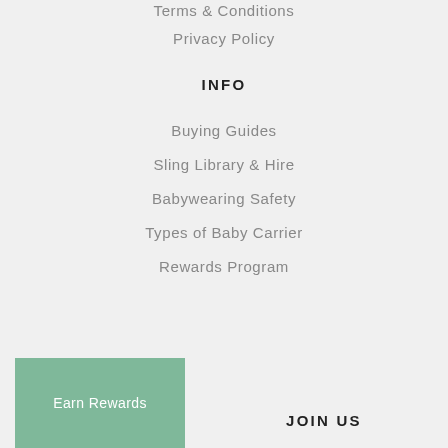Terms & Conditions
Privacy Policy
INFO
Buying Guides
Sling Library & Hire
Babywearing Safety
Types of Baby Carrier
Rewards Program
Earn Rewards
JOIN US